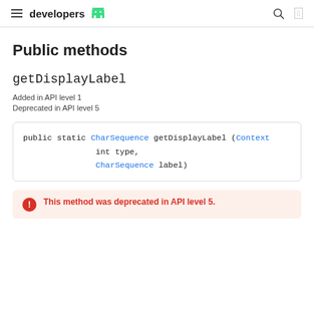developers
Public methods
getDisplayLabel
Added in API level 1
Deprecated in API level 5
public static CharSequence getDisplayLabel (Context
                int type,
                CharSequence label)
This method was deprecated in API level 5.